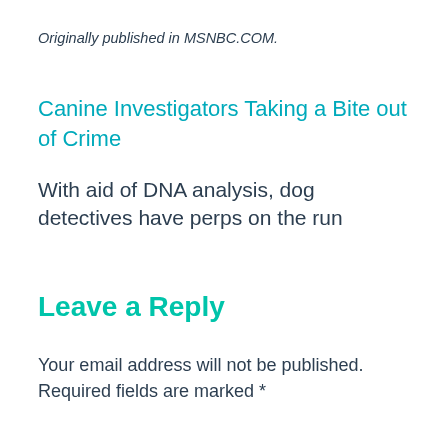Originally published in MSNBC.COM.
Canine Investigators Taking a Bite out of Crime
With aid of DNA analysis, dog detectives have perps on the run
Leave a Reply
Your email address will not be published. Required fields are marked *